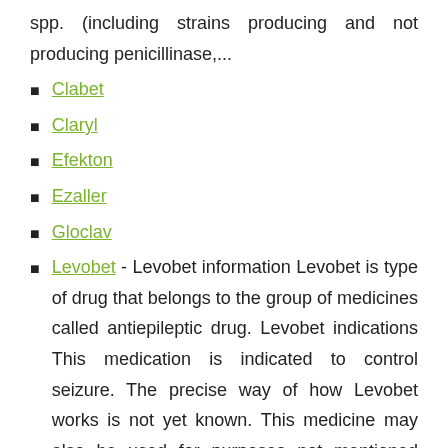spp. (including strains producing and not producing penicillinase,...
Clabet
Claryl
Efekton
Ezaller
Gloclav
Levobet - Levobet information Levobet is type of drug that belongs to the group of medicines called antiepileptic drug. Levobet indications This medication is indicated to control seizure. The precise way of how Levobet works is not yet known. This medicine may also be used for purposes not mentioned here. Levobet warnings This drug belongs in the FDA pregnancy category C. Levobet